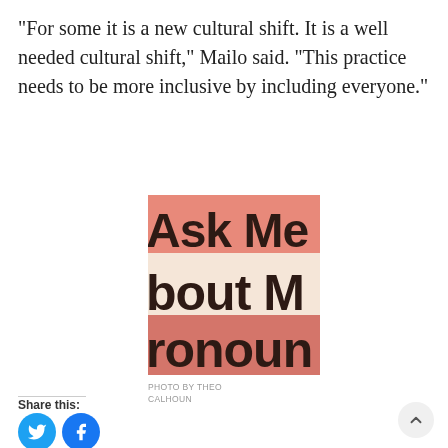“For some it is a new cultural shift. It is a well needed cultural shift,” Mailo said. “This practice needs to be more inclusive by including everyone.”
[Figure (photo): Close-up photo of a badge or sign reading 'Ask Me About My Pronouns' on a pink and cream striped background. Only partial text is visible: 'Ask Me', 'bout M', 'ronoun'.]
PHOTO BY THEO CALHOUN
Share this: